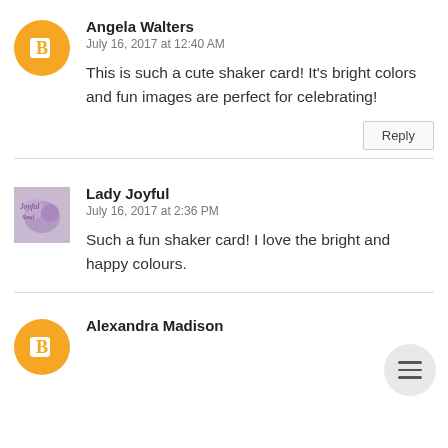[Figure (illustration): Orange circle avatar with white Blogger 'B' icon]
Angela Walters
July 16, 2017 at 12:40 AM
This is such a cute shaker card! It's bright colors and fun images are perfect for celebrating!
Reply
[Figure (photo): Square thumbnail photo for Lady Joyful avatar]
Lady Joyful
July 16, 2017 at 2:36 PM
Such a fun shaker card! I love the bright and happy colours.
[Figure (illustration): Orange circle avatar with white Blogger 'B' icon]
Alexandra Madison